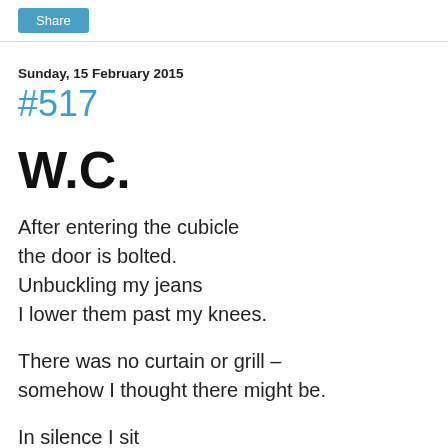Share
Sunday, 15 February 2015
#517
W.C.
After entering the cubicle
the door is bolted.
Unbuckling my jeans
I lower them past my knees.
There was no curtain or grill –
somehow I thought there might be.
In silence I sit
doling out dispensations and penances
to the shaky biro on the wall.